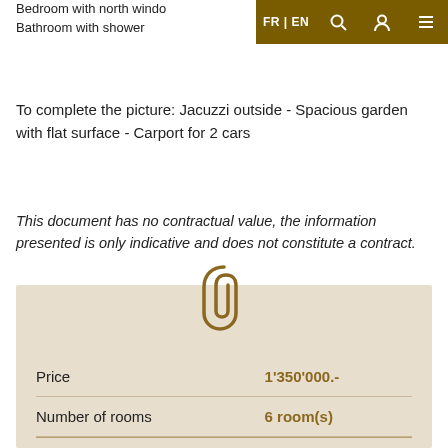Bedroom with north window
Bathroom with shower
To complete the picture: Jacuzzi outside - Spacious garden with flat surface - Carport for 2 cars
This document has no contractual value, the information presented is only indicative and does not constitute a contract.
|  |  |
| --- | --- |
| Price | 1'350'000.- |
| Number of rooms | 6 room(s) |
| Living surface | 162 m² |